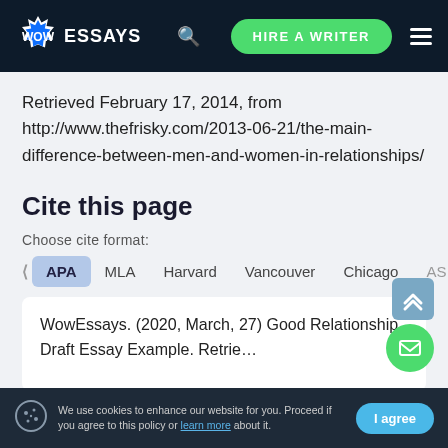WOW ESSAYS | HIRE A WRITER
Retrieved February 17, 2014, from http://www.thefrisky.com/2013-06-21/the-main-difference-between-men-and-women-in-relationships/
Cite this page
Choose cite format:
APA | MLA | Harvard | Vancouver | Chicago | AS
WowEssays. (2020, March, 27) Good Relationship Draft Essay Example. Retrie…
We use cookies to enhance our website for you. Proceed if you agree to this policy or learn more about it. | I agree